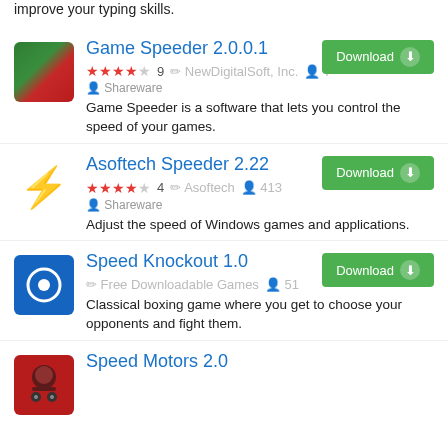improve your typing skills.
Game Speeder 2.0.0.1
★★★★☆ 9  NewDigitalSoft, Inc.  7  Shareware
Game Speeder is a software that lets you control the speed of your games.
Asoftech Speeder 2.22
★★★★☆ 4  Asoftech  413  Shareware
Adjust the speed of Windows games and applications.
Speed Knockout 1.0
Free Downloadable Games  51
Classical boxing game where you get to choose your opponents and fight them.
Speed Motors 2.0